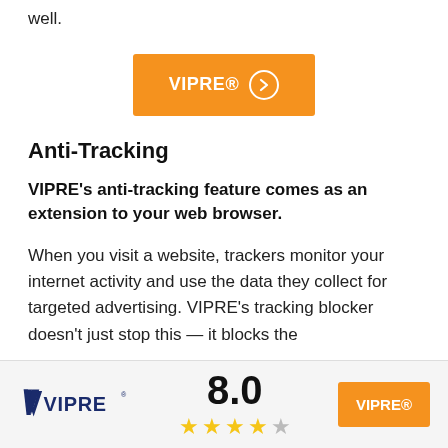well.
[Figure (other): Orange VIPRE button with right-arrow circle icon]
Anti-Tracking
VIPRE's anti-tracking feature comes as an extension to your web browser.
When you visit a website, trackers monitor your internet activity and use the data they collect for targeted advertising. VIPRE's tracking blocker doesn't just stop this — it blocks the
VIPRE logo | 8.0 | 4 stars out of 5 | VIPRE button